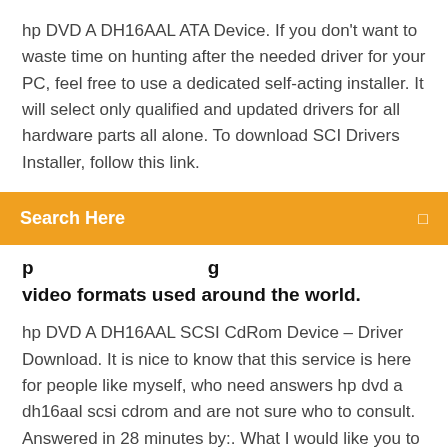hp DVD A DH16AAL ATA Device. If you don't want to waste time on hunting after the needed driver for your PC, feel free to use a dedicated self-acting installer. It will select only qualified and updated drivers for all hardware parts all alone. To download SCI Drivers Installer, follow this link.
Search Here
video formats used around the world.
hp DVD A DH16AAL SCSI CdRom Device – Driver Download. It is nice to know that this service is here for people like myself, who need answers hp dvd a dh16aal scsi cdrom and are not sure who to consult. Answered in 28 minutes by:. What I would like you to try is to uninstall the CD drive drivers. I have uninstalled and it was recognized. I am I'm looking for a driver for my HP 1170 DVD/Lightscribe burner that will work in Windows 10. It's not on the HP site anymore. I last used this